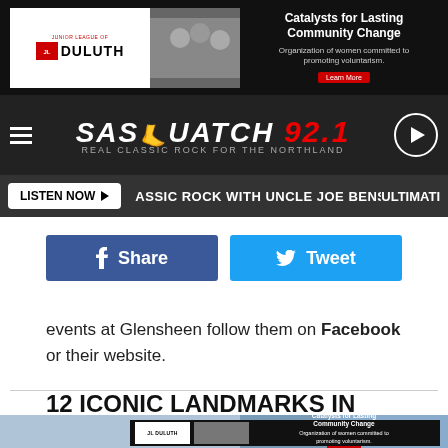[Figure (screenshot): Top advertisement banner for Junior League of Duluth - Catalysts for Lasting Community Change]
[Figure (logo): Sasquatch 92.1 Real Classic Rock For The Northland radio station banner with hamburger menu and play button]
[Figure (screenshot): Listen Now button and Classic Rock with Uncle Joe Benson ticker bar]
[Figure (screenshot): Facebook Share and Twitter Tweet social sharing buttons]
events at Glensheen follow them on Facebook or their website.
12 ICONIC LANDMARKS IN THE TWIN PORTS
[Figure (screenshot): Bottom advertisement for Junior League of Duluth - Catalysts for Lasting Community Change]